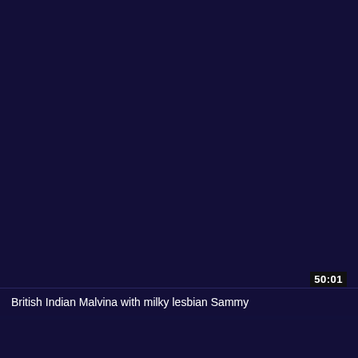[Figure (screenshot): Dark navy/purple video thumbnail with duration badge showing 50:01 in the bottom right corner]
British Indian Malvina with milky lesbian Sammy